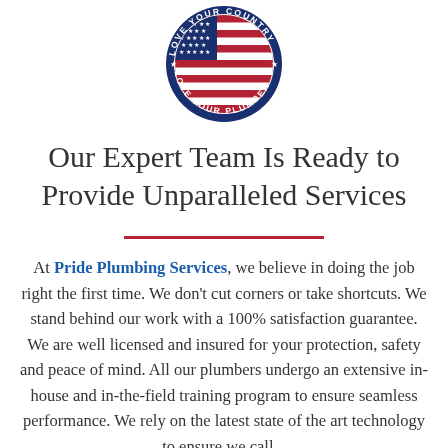[Figure (logo): Circular logo with American flag in center, dark blue border with text 'LOVE YOUR COUNTRY LOVE YOUR PLUMBER' and stars around the ring]
Our Expert Team Is Ready to Provide Unparalleled Services
At Pride Plumbing Services, we believe in doing the job right the first time. We don't cut corners or take shortcuts. We stand behind our work with a 100% satisfaction guarantee. We are well licensed and insured for your protection, safety and peace of mind. All our plumbers undergo an extensive in-house and in-the-field training program to ensure seamless performance. We rely on the latest state of the art technology to ensure we call...